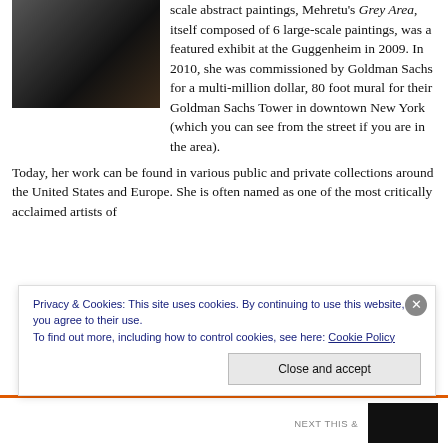[Figure (photo): Dark photograph, appears to show a person or artwork, dimly lit]
scale abstract paintings, Mehretu's Grey Area, itself composed of 6 large-scale paintings, was a featured exhibit at the Guggenheim in 2009. In 2010, she was commissioned by Goldman Sachs for a multi-million dollar, 80 foot mural for their Goldman Sachs Tower in downtown New York (which you can see from the street if you are in the area).
Today, her work can be found in various public and private collections around the United States and Europe. She is often named as one of the most critically acclaimed artists of
Privacy & Cookies: This site uses cookies. By continuing to use this website, you agree to their use.
To find out more, including how to control cookies, see here: Cookie Policy
Close and accept
NEXT THIS &